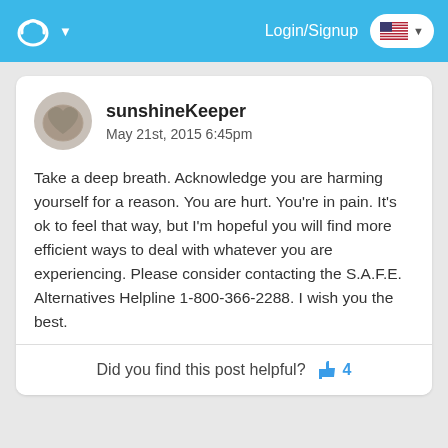Login/Signup
sunshineKeeper
May 21st, 2015 6:45pm
Take a deep breath. Acknowledge you are harming yourself for a reason. You are hurt. You're in pain. It's ok to feel that way, but I'm hopeful you will find more efficient ways to deal with whatever you are experiencing. Please consider contacting the S.A.F.E. Alternatives Helpline 1-800-366-2288. I wish you the best.
Did you find this post helpful? 4